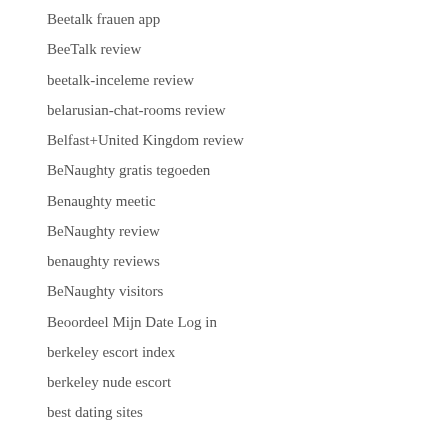Beetalk frauen app
BeeTalk review
beetalk-inceleme review
belarusian-chat-rooms review
Belfast+United Kingdom review
BeNaughty gratis tegoeden
Benaughty meetic
BeNaughty review
benaughty reviews
BeNaughty visitors
Beoordeel Mijn Date Log in
berkeley escort index
berkeley nude escort
best dating sites